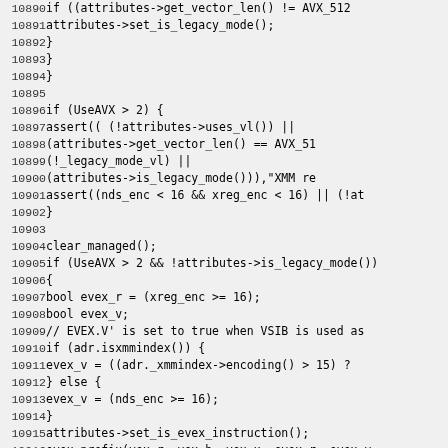[Figure (screenshot): Source code listing showing C++ code lines 10890-10919 related to AVX/EVEX instruction encoding, with line numbers on the left and monospace code on the right on a light gray background.]